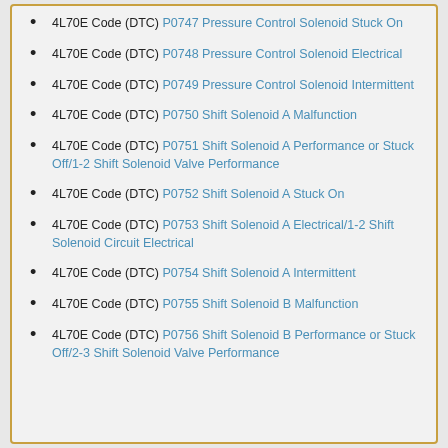4L70E Code (DTC) P0747 Pressure Control Solenoid Stuck On
4L70E Code (DTC) P0748 Pressure Control Solenoid Electrical
4L70E Code (DTC) P0749 Pressure Control Solenoid Intermittent
4L70E Code (DTC) P0750 Shift Solenoid A Malfunction
4L70E Code (DTC) P0751 Shift Solenoid A Performance or Stuck Off/1-2 Shift Solenoid Valve Performance
4L70E Code (DTC) P0752 Shift Solenoid A Stuck On
4L70E Code (DTC) P0753 Shift Solenoid A Electrical/1-2 Shift Solenoid Circuit Electrical
4L70E Code (DTC) P0754 Shift Solenoid A Intermittent
4L70E Code (DTC) P0755 Shift Solenoid B Malfunction
4L70E Code (DTC) P0756 Shift Solenoid B Performance or Stuck Off/2-3 Shift Solenoid Valve Performance